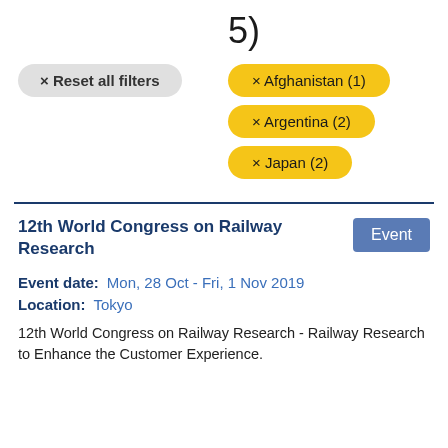5)
× Reset all filters
× Afghanistan (1)
× Argentina (2)
× Japan (2)
12th World Congress on Railway Research
Event date:   Mon, 28 Oct - Fri, 1 Nov 2019
Location:   Tokyo
12th World Congress on Railway Research - Railway Research to Enhance the Customer Experience.